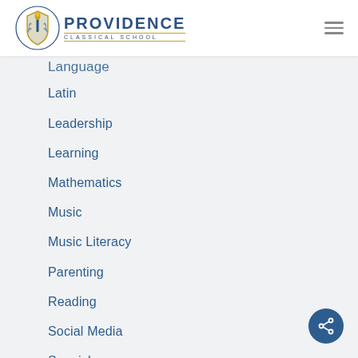Providence Classical School
Language
Latin
Leadership
Learning
Mathematics
Music
Music Literacy
Parenting
Reading
Social Media
Spanish